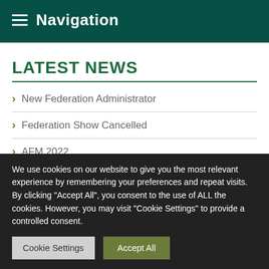Navigation
LATEST NEWS
New Federation Administrator
Federation Show Cancelled
AFM 2022
WFWI Public Affairs Newsletter July 2022
We use cookies on our website to give you the most relevant experience by remembering your preferences and repeat visits. By clicking “Accept All”, you consent to the use of ALL the cookies. However, you may visit "Cookie Settings" to provide a controlled consent.
Cookie Settings | Accept All